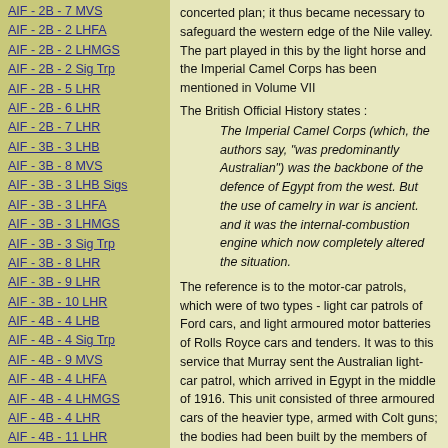AIF - 2B - 7 MVS
AIF - 2B - 2 LHFA
AIF - 2B - 2 LHMGS
AIF - 2B - 2 Sig Trp
AIF - 2B - 5 LHR
AIF - 2B - 6 LHR
AIF - 2B - 7 LHR
AIF - 3B - 3 LHB
AIF - 3B - 8 MVS
AIF - 3B - 3 LHB Sigs
AIF - 3B - 3 LHFA
AIF - 3B - 3 LHMGS
AIF - 3B - 3 Sig Trp
AIF - 3B - 8 LHR
AIF - 3B - 9 LHR
AIF - 3B - 10 LHR
AIF - 4B - 4 LHB
AIF - 4B - 4 Sig Trp
AIF - 4B - 9 MVS
AIF - 4B - 4 LHFA
AIF - 4B - 4 LHMGS
AIF - 4B - 4 LHR
AIF - 4B - 11 LHR
AIF - 4B - 12 LHR
AIF - 5B - 5 LHB
AIF - 5B - 10 MVS
AIF - 5B - 5 LHFA
AIF - 5B - 5 Sig Trp
concerted plan; it thus became necessary to safeguard the western edge of the Nile valley. The part played in this by the light horse and the Imperial Camel Corps has been mentioned in Volume VII
The British Official History states :
The Imperial Camel Corps (which, the authors say, "was predominantly Australian") was the backbone of the defence of Egypt from the west. But the use of camelry in war is ancient. and it was the internal-combustion engine which now completely altered the situation.
The reference is to the motor-car patrols, which were of two types - light car patrols of Ford cars, and light armoured motor batteries of Rolls Royce cars and tenders. It was to this service that Murray sent the Australian light-car patrol, which arrived in Egypt in the middle of 1916. This unit consisted of three armoured cars of the heavier type, armed with Colt guns; the bodies had been built by the members of the unit themselves in Melbourne to the plans of their